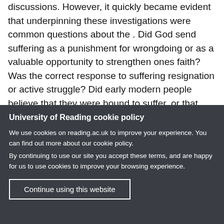discussions. However, it quickly became evident that underpinning these investigations were common questions about the . Did God send suffering as a punishment for wrongdoing or as a valuable opportunity to strengthen ones faith? Was the correct response to suffering resignation or active struggle? Did early modern people believe that they were bound to suffer, or that they
University of Reading cookie policy
We use cookies on reading.ac.uk to improve your experience. You can find out more about our cookie policy. By continuing to use our site you accept these terms, and are happy for us to use cookies to improve your browsing experience.
Continue using this website